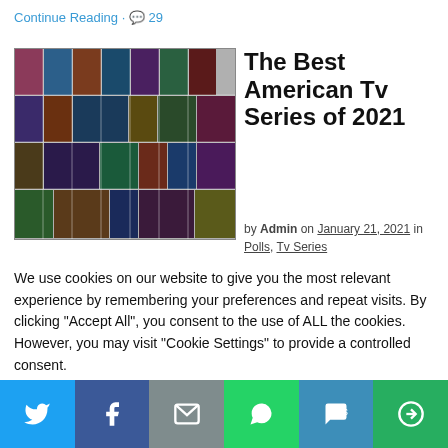Continue Reading · 💬 29
[Figure (photo): Collage of American TV series posters from 2021]
The Best American Tv Series of 2021
by Admin on January 21, 2021 in Polls, Tv Series
We use cookies on our website to give you the most relevant experience by remembering your preferences and repeat visits. By clicking "Accept All", you consent to the use of ALL the cookies. However, you may visit "Cookie Settings" to provide a controlled consent.
[Figure (infographic): Social sharing bar with Twitter, Facebook, Email, WhatsApp, SMS, and More buttons]